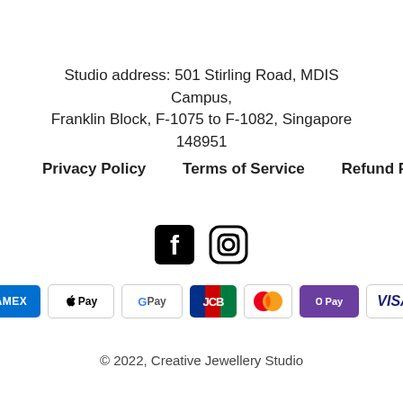Studio address: 501 Stirling Road, MDIS Campus, Franklin Block, F-1075 to F-1082, Singapore 148951
Privacy Policy    Terms of Service    Refund Policy
[Figure (other): Social media icons: Facebook and Instagram]
[Figure (other): Payment method badges: American Express, Apple Pay, Google Pay, JCB, Mastercard, OPay, Visa]
© 2022, Creative Jewellery Studio